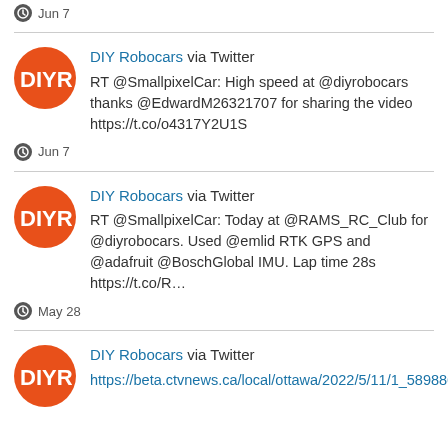Jun 7
DIY Robocars via Twitter
RT @SmallpixelCar: High speed at @diyrobocars thanks @EdwardM26321707 for sharing the video https://t.co/o4317Y2U1S
Jun 7
DIY Robocars via Twitter
RT @SmallpixelCar: Today at @RAMS_RC_Club for @diyrobocars. Used @emlid RTK GPS and @adafruit @BoschGlobal IMU. Lap time 28s https://t.co/R…
May 28
DIY Robocars via Twitter
https://beta.ctvnews.ca/local/ottawa/2022/5/11/1_5898864.amp.html